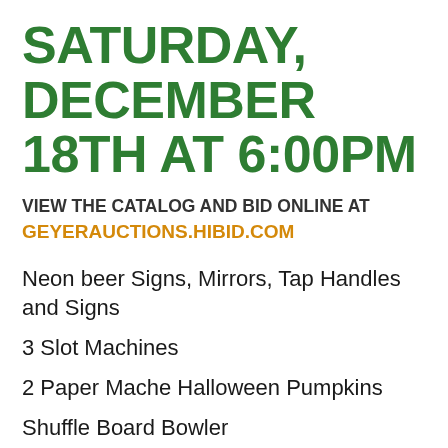SATURDAY, DECEMBER 18TH AT 6:00PM
VIEW THE CATALOG AND BID ONLINE AT
GEYERAUCTIONS.HIBID.COM
Neon beer Signs, Mirrors, Tap Handles and Signs
3 Slot Machines
2 Paper Mache Halloween Pumpkins
Shuffle Board Bowler
Lawn Jockey